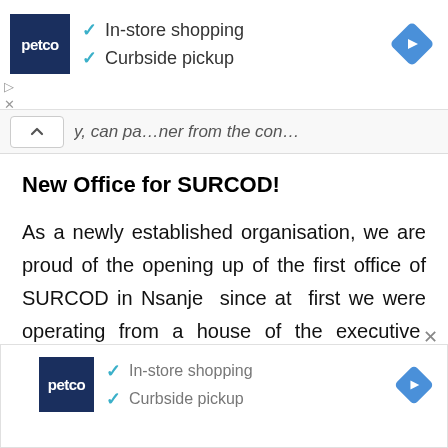[Figure (screenshot): Petco advertisement banner showing logo, checkmarks for In-store shopping and Curbside pickup, and a blue navigation diamond icon]
y, cu, pa…ner from the co…
New Office for SURCOD!
As a newly established organisation, we are proud of the opening up of the first office of SURCOD in Nsanje  since at  first we were operating from a house of the executive  director.
[Figure (screenshot): Second Petco advertisement banner at the bottom, identical to the top one with logo, checkmarks, and navigation icon]